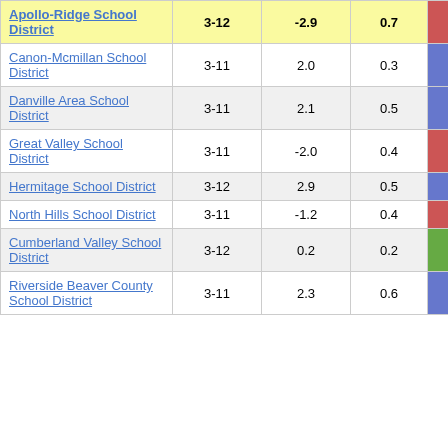| School District | Grades | Col3 | Col4 | Score |
| --- | --- | --- | --- | --- |
| Apollo-Ridge School District | 3-12 | -2.9 | 0.7 | -4.04 |
| Canon-Mcmillan School District | 3-11 | 2.0 | 0.3 | 5.77 |
| Danville Area School District | 3-11 | 2.1 | 0.5 | 4.02 |
| Great Valley School District | 3-11 | -2.0 | 0.4 | -5.13 |
| Hermitage School District | 3-12 | 2.9 | 0.5 | 5.57 |
| North Hills School District | 3-11 | -1.2 | 0.4 | -3.31 |
| Cumberland Valley School District | 3-12 | 0.2 | 0.2 | 0.84 |
| Riverside Beaver County School District | 3-11 | 2.3 | 0.6 | 3.62 |